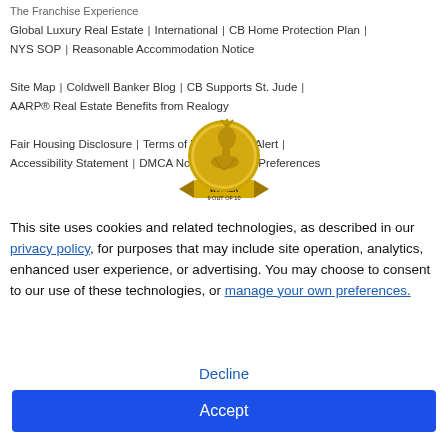The Franchise Experience
Global Luxury Real Estate | International | CB Home Protection Plan | NYS SOP | Reasonable Accommodation Notice
Site Map | Coldwell Banker Blog | CB Supports St. Jude | AARP® Real Estate Benefits from Realogy
Fair Housing Disclosure | Terms of Use | Fraud Alert | Accessibility Statement | DMCA Notice | Cookie Preferences
[Figure (illustration): Gold medal award badge with a profile of a woman on it, with a ribbon banner below reading WINNER 9 OUT OF 10]
This site uses cookies and related technologies, as described in our privacy policy, for purposes that may include site operation, analytics, enhanced user experience, or advertising. You may choose to consent to our use of these technologies, or manage your own preferences.
Decline
Accept